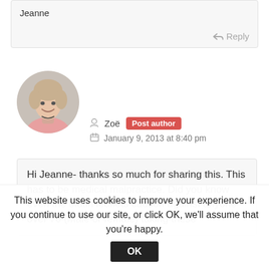Jeanne
↩ Reply
[Figure (photo): Circular profile photo of a woman with short blonde hair wearing a pink top, smiling]
Zoë  Post author
January 9, 2013 at 8:40 pm
Hi Jeanne- thanks so much for sharing this. This has to be medical malpractice. Did you know even the statin leaflets caution against anyone over 70 (male or female) taking these
This website uses cookies to improve your experience. If you continue to use our site, or click OK, we'll assume that you're happy.